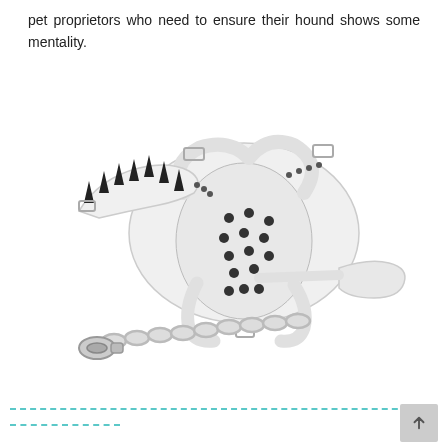pet proprietors who need to ensure their hound shows some mentality.
[Figure (photo): White leather dog harness set with spiked collar and metal chain leash with clip. The harness features perforations and buckles, the collar has sharp spikes, and the leash has a metal chain with a carabiner clip and a white leather handle loop.]